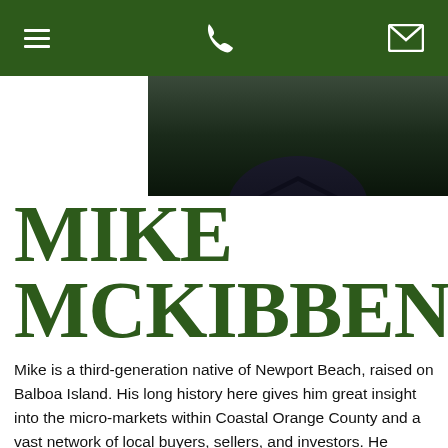Navigation bar with menu, phone, and email icons
[Figure (photo): Partial photo of Mike McKibben, dark background, person in dark suit visible from shoulders up]
MIKE MCKIBBEN
Mike is a third-generation native of Newport Beach, raised on Balboa Island. His long history here gives him great insight into the micro-markets within Coastal Orange County and a vast network of local buyers, sellers, and investors. He launched his career in real estate in 2003 and focuses his practice mainly on high-end luxury real estate along the coast from San Clemente to Huntington Beach. Mike is known for